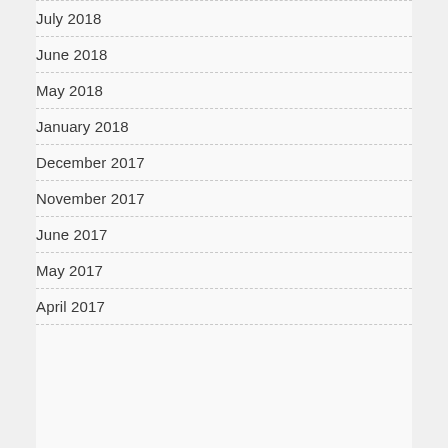July 2018
June 2018
May 2018
January 2018
December 2017
November 2017
June 2017
May 2017
April 2017